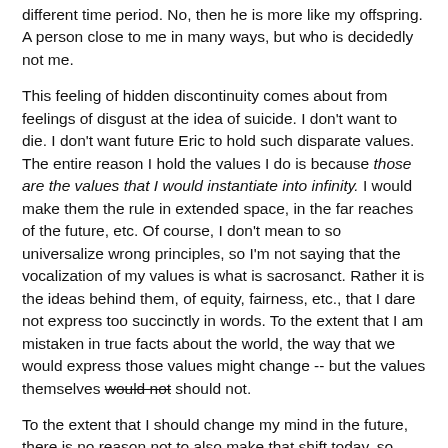different time period. No, then he is more like my offspring. A person close to me in many ways, but who is decidedly not me.
This feeling of hidden discontinuity comes about from feelings of disgust at the idea of suicide. I don't want to die. I don't want future Eric to hold such disparate values. The entire reason I hold the values I do is because those are the values that I would instantiate into infinity. I would make them the rule in extended space, in the far reaches of the future, etc. Of course, I don't mean to so universalize wrong principles, so I'm not saying that the vocalization of my values is what is sacrosanct. Rather it is the ideas behind them, of equity, fairness, etc., that I dare not express too succinctly in words. To the extent that I am mistaken in true facts about the world, the way that we would express those values might change -- but the values themselves would not should not.
To the extent that I should change my mind in the future, there is no reason not to also make that shift today, so there is no reason to suspect that future Eric should have reason